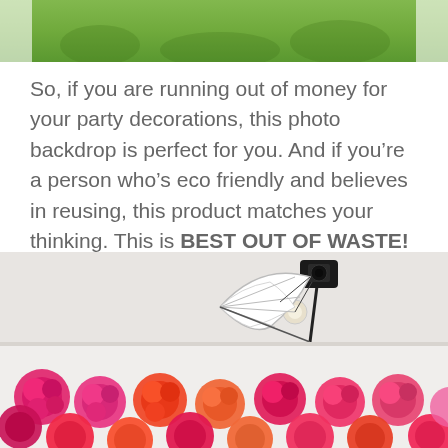[Figure (photo): Top portion of an outdoor photo showing green grass/garden visible through a window frame with white edges]
So, if you are running out of money for your party decorations, this photo backdrop is perfect for you. And if you’re a person who’s eco friendly and believes in reusing, this product matches your thinking. This is BEST OUT OF WASTE!
[Figure (photo): Photo of a photography studio setup showing a camera on a stand with a white umbrella reflector/diffuser, positioned above a backdrop of colorful pink, red, and orange tissue paper pom-poms or flowers]